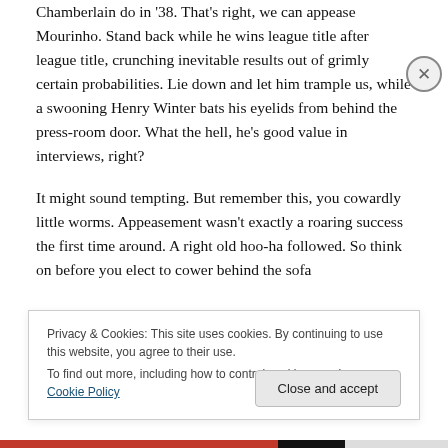Chamberlain do in '38. That's right, we can appease Mourinho. Stand back while he wins league title after league title, crunching inevitable results out of grimly certain probabilities. Lie down and let him trample us, while a swooning Henry Winter bats his eyelids from behind the press-room door. What the hell, he's good value in interviews, right?
It might sound tempting. But remember this, you cowardly little worms. Appeasement wasn't exactly a roaring success the first time around. A right old hoo-ha followed. So think on before you elect to cower behind the sofa
Privacy & Cookies: This site uses cookies. By continuing to use this website, you agree to their use.
To find out more, including how to control cookies, see here: Cookie Policy
Close and accept